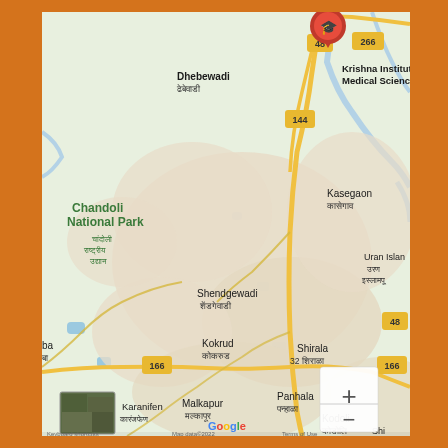[Figure (map): Google Maps screenshot showing a region in Maharashtra, India, centered around Krishna Institute of Medical Sciences. Visible locations include Chandoli National Park, Dhebewadi, Kasegaon, Shendgewadi, Kokrud, Shirala, Malkapur, Kodoli, Panhala, Karanifen, and Uran Islampur. Road numbers visible: 48, 266, 144, 166. Map has zoom controls (+/-) and Google branding. Orange border surrounds the map.]